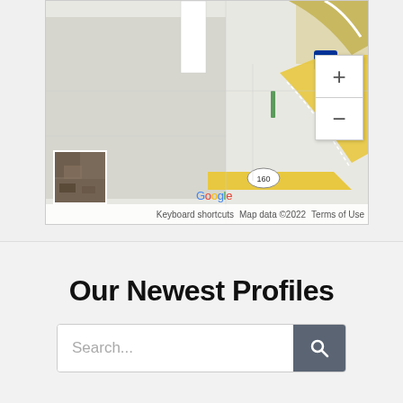[Figure (map): Google Maps screenshot showing a street map with road intersections, Interstate 15, route 160, zoom controls (+/-), a thumbnail satellite image, Google logo, and map attribution text: Keyboard shortcuts, Map data ©2022, Terms of Use]
Our Newest Profiles
Search...